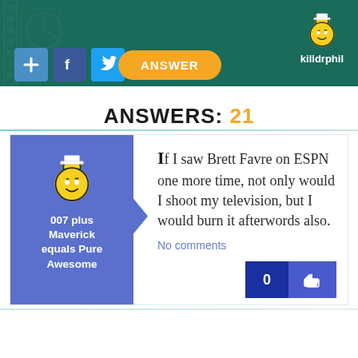[Figure (screenshot): App header banner with dark green background, film strip decoration, social buttons (plus, Facebook, Twitter), yellow Answer button, and user avatar with username 'killdrphil']
ANSWERS: 21
If I saw Brett Favre on ESPN one more time, not only would I shoot my television, but I would burn it afterwords also.
No comments
007 plus Maverick equals Pure Awesome
0